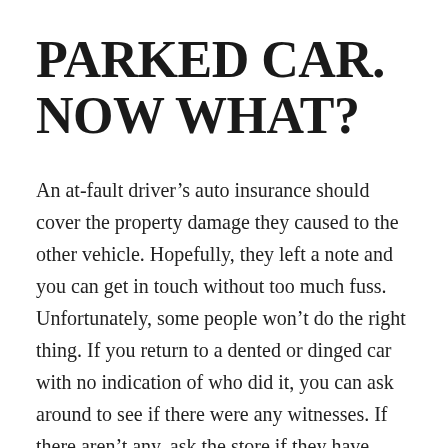PARKED CAR. NOW WHAT?
An at-fault driver’s auto insurance should cover the property damage they caused to the other vehicle. Hopefully, they left a note and you can get in touch without too much fuss. Unfortunately, some people won’t do the right thing. If you return to a dented or dinged car with no indication of who did it, you can ask around to see if there were any witnesses. If there aren’t any, ask the store if they have security cameras.
If the incident is a hit-and-run—or if the at-fault